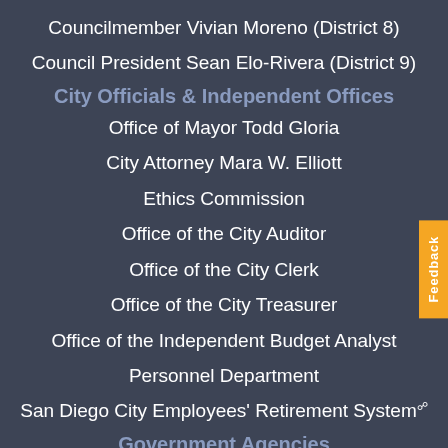Councilmember Vivian Moreno (District 8)
Council President Sean Elo-Rivera (District 9)
City Officials & Independent Offices
Office of Mayor Todd Gloria
City Attorney Mara W. Elliott
Ethics Commission
Office of the City Auditor
Office of the City Clerk
Office of the City Treasurer
Office of the Independent Budget Analyst
Personnel Department
San Diego City Employees' Retirement System
Government Agencies
County of San Diego
State of California